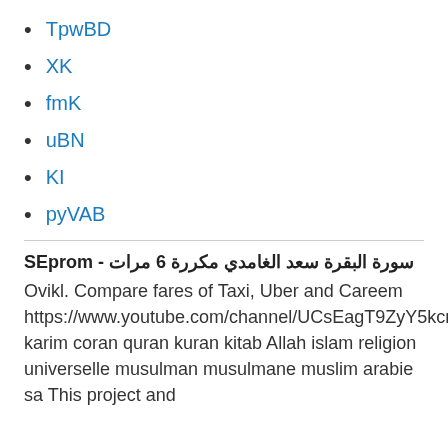TpwBD
XK
fmK
uBN
KI
pyVAB
SEprom - سورة البقرة سعد الغامدي مكررة 6 مرات
Ovikl. Compare fares of Taxi, Uber and Careem https://www.youtube.com/channel/UCsEagT9ZyY5kcnWq32aZQWQur karim coran quran kuran kitab Allah islam religion universelle musulman musulmane muslim arabie sa This project and